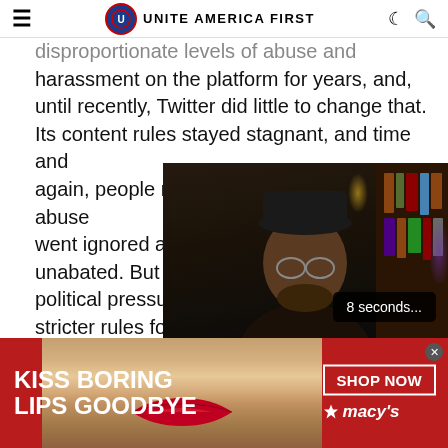UNITE AMERICA FIRST
disproportionate levels of abuse and harassment on the platform for years, and, until recently, Twitter did little to change that. Its content rules stayed stagnant, and time and again, people reported incidences when abuse went ignored and harassment continued unabated. But Twitter has bowed to recent political pressure, expressing clear interest in stricter rules for what people are allowed to do and say.
[Figure (screenshot): Video player showing a person with glasses and a beard in a dark room with bookshelves. A countdown badge reads '8 seconds...']
[Figure (photo): Advertisement banner: red background with white text 'KISS BORING LIPS GOODBYE', photo of woman with red lips, 'SHOP NOW' button and Macy's star logo]